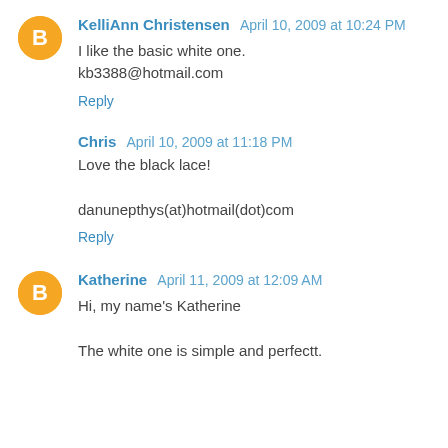KelliAnn Christensen April 10, 2009 at 10:24 PM
I like the basic white one.
kb3388@hotmail.com
Reply
Chris April 10, 2009 at 11:18 PM
Love the black lace!

danunepthys(at)hotmail(dot)com
Reply
Katherine April 11, 2009 at 12:09 AM
Hi, my name's Katherine

The white one is simple and perfectt.